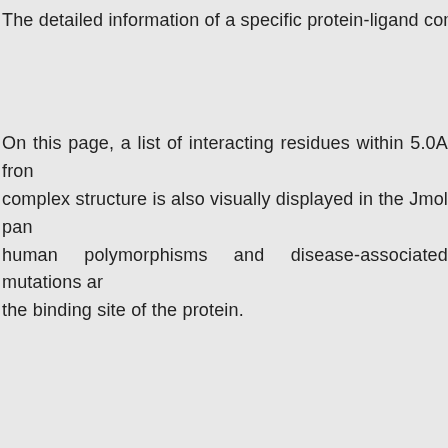The detailed information of a specific protein-ligand complex
On this page, a list of interacting residues within 5.0A from complex structure is also visually displayed in the Jmol pan human polymorphisms and disease-associated mutations a the binding site of the protein.